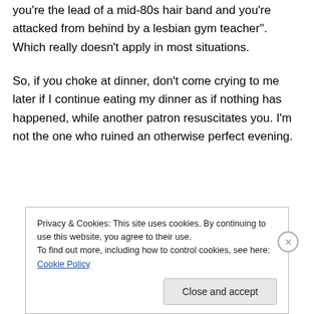you're the lead of a mid-80s hair band and you're attacked from behind by a lesbian gym teacher". Which really doesn't apply in most situations.
So, if you choke at dinner, don't come crying to me later if I continue eating my dinner as if nothing has happened, while another patron resuscitates you. I'm not the one who ruined an otherwise perfect evening.
Privacy & Cookies: This site uses cookies. By continuing to use this website, you agree to their use.
To find out more, including how to control cookies, see here: Cookie Policy
Close and accept